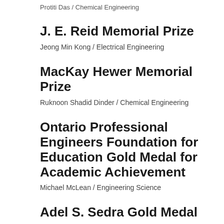Protiti Das / Chemical Engineering
J. E. Reid Memorial Prize
Jeong Min Kong / Electrical Engineering
MacKay Hewer Memorial Prize
Ruknoon Shadid Dinder / Chemical Engineering
Ontario Professional Engineers Foundation for Education Gold Medal for Academic Achievement
Michael McLean / Engineering Science
Adel S. Sedra Gold Medal
Daniel Lu / Computer Engineering
Pranshu Malik / Electrical Engineering